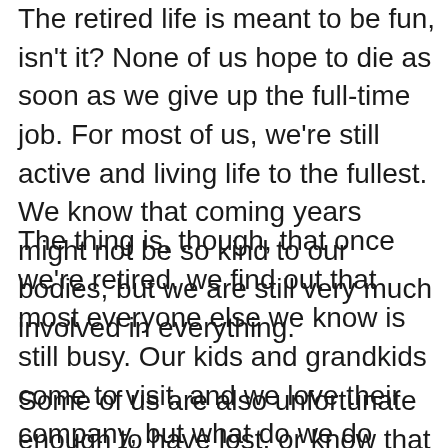The retired life is meant to be fun, isn't it? None of us hope to die as soon as we give up the full-time job. For most of us, we're still active and living life to the fullest. We know that coming years might not be so kind to our bodies, but we are still very much involved in everything.
The thing is, though, that once we're retired, we find out that most everyone else we know is still busy. Our kids and grandkids come to visit, and we love their company, but what do we do when they're not around.
Some of us are also unfortunate enough to have lost, or know that we soon will lose our significant other. Retired life can be great, but it